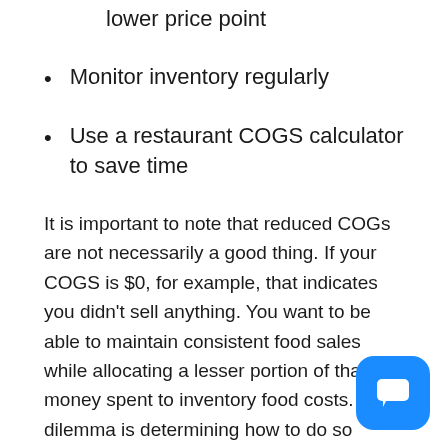lower price point
Monitor inventory regularly
Use a restaurant COGS calculator to save time
It is important to note that reduced COGs are not necessarily a good thing. If your COGS is $0, for example, that indicates you didn't sell anything. You want to be able to maintain consistent food sales while allocating a lesser portion of that money spent to inventory food costs. The dilemma is determining how to do so without sacrificing the quality of your menu items.
Buy in bulk whenever possible